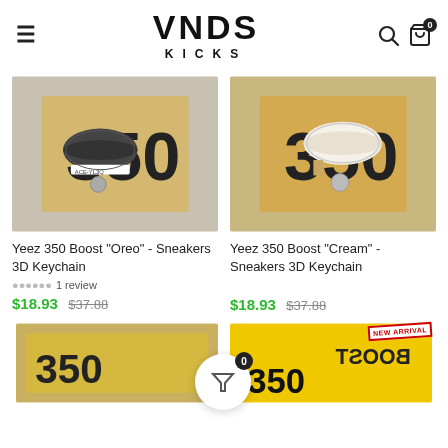VNDS KICKS
[Figure (photo): Yeezy 350 Boost Oreo sneaker keychain held in hand in front of Yeezy box]
Yeez 350 Boost "Oreo" - Sneakers 3D Keychain
1 review
$18.93 $37.88
[Figure (photo): Yeezy 350 Boost Cream sneaker keychain held in hand in front of Yeezy box]
Yeez 350 Boost "Cream" - Sneakers 3D Keychain
$18.93 $37.88
[Figure (photo): Bottom left product image partial view - sneaker box]
[Figure (photo): Yeezy 350 Boost box in yellow with NEW ARRIVAL stamp, showing BOOST 350 text]